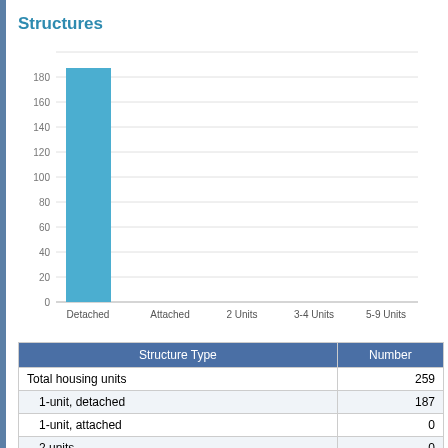Structures
[Figure (bar-chart): Structures]
| Structure Type | Number |
| --- | --- |
| Total housing units | 259 |
| 1-unit, detached | 187 |
| 1-unit, attached | 0 |
| 2 units | 0 |
| 3 or 4 units | 0 |